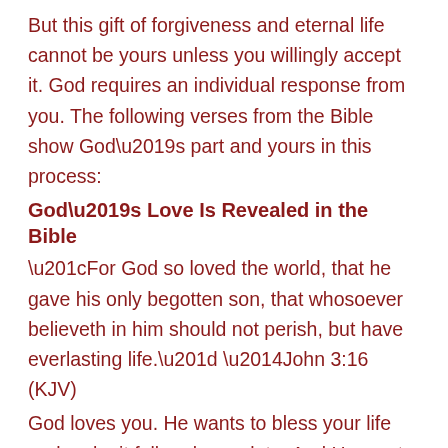But this gift of forgiveness and eternal life cannot be yours unless you willingly accept it. God requires an individual response from you. The following verses from the Bible show God’s part and yours in this process:
God’s Love Is Revealed in the Bible
“For God so loved the world, that he gave his only begotten son, that whosoever believeth in him should not perish, but have everlasting life.” —John 3:16 (KJV)
God loves you. He wants to bless your life and make it full and complete. And He wants to give you a life which will last forever, even after you experience